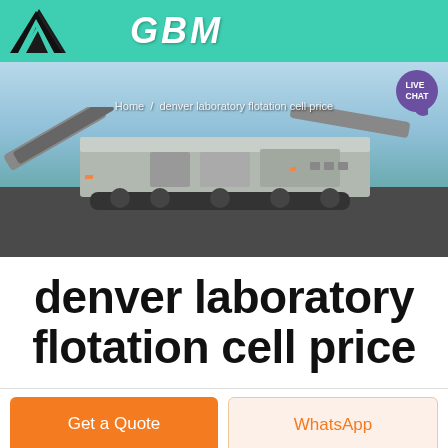GBM
[Figure (photo): Industrial mining/crushing machinery on a job site with blue sky background, with breadcrumb navigation showing 'Home / denver laboratory flotation cell price' and a purple live chat bubble in the top right corner]
denver laboratory flotation cell price
Get a Quote | WhatsApp